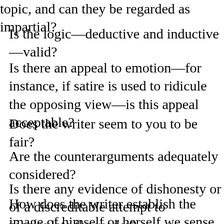topic, and can they be regarded as impartial?
Is the logic—deductive and inductive—valid?
Is there an appeal to emotion—for instance, if satire is used to ridicule the opposing view—is this appeal acceptable?
Does the writer seem to you to be fair?
Are the counterarguments adequately considered?
Is there any evidence of dishonesty or of a discreditable attempt to manipulate the reader?
How does the writer establish the image of himself or herself we sense in the essay? What is the writer's tone, and is it ap